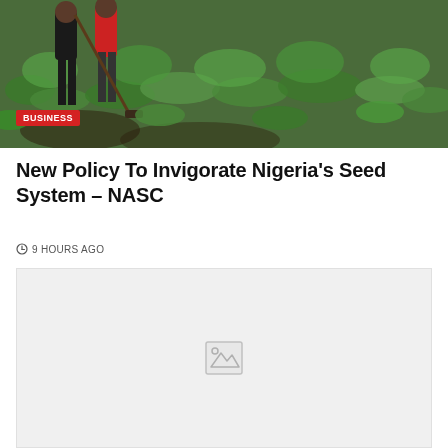[Figure (photo): Farmers working in a green field, one wearing red and one wearing black, using farming tools among lush green plants]
BUSINESS
New Policy To Invigorate Nigeria's Seed System – NASC
9 HOURS AGO
[Figure (photo): Placeholder image with broken image icon]